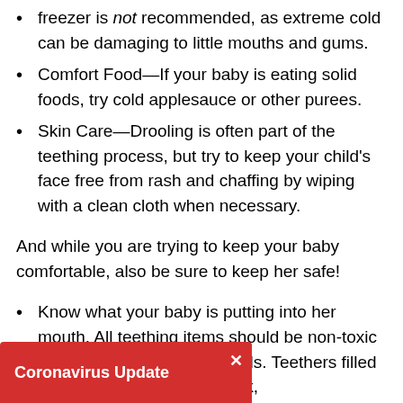freezer is not recommended, as extreme cold can be damaging to little mouths and gums.
Comfort Food—If your baby is eating solid foods, try cold applesauce or other purees.
Skin Care—Drooling is often part of the teething process, but try to keep your child's face free from rash and chaffing by wiping with a clean cloth when necessary.
And while you are trying to keep your baby comfortable, also be sure to keep her safe!
Know what your baby is putting into her mouth. All teething items should be non-toxic and free of harmful chemicals. Teethers filled with fluids may break or leak,
Coronavirus Update